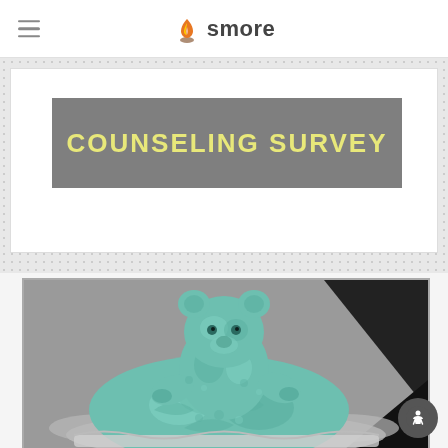smore
COUNSELING SURVEY
[Figure (photo): A teal/mint colored stuffed animal bear security blanket (lovey) with satin trim, photographed on a dark surface in partially black-and-white style with the bear in color.]